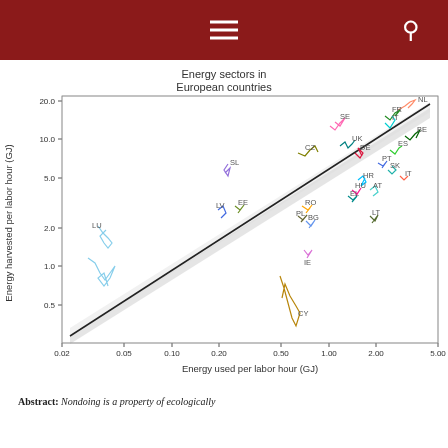Energy sectors in European countries
[Figure (continuous-plot): Log-log scatter plot showing energy harvested per labor hour (GJ) on y-axis vs energy used per labor hour (GJ) on x-axis, for multiple European countries labeled with country codes (NL, FR, IT, BE, SE, UK, CZ, DE, ES, PT, SK, SL, EE, LV, LU, HR, HU, AT, EL, RO, PL, BG, LT, IE, CY). Each country shown as a colored trajectory line. A diagonal regression line with grey confidence band runs through the data.]
Abstract: Nondoing is a property of ecologically...